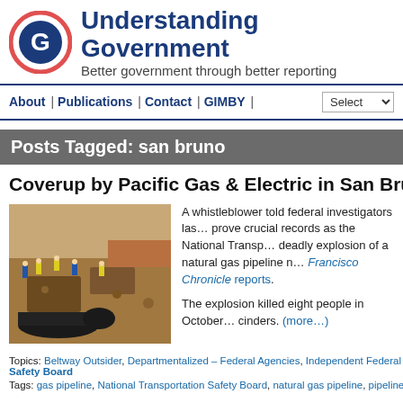Understanding Government — Better government through better reporting
About | Publications | Contact | GIMBY | Select
Posts Tagged: san bruno
Coverup by Pacific Gas & Electric in San Bruno exp…
[Figure (photo): Workers in safety gear excavating around a burst natural gas pipeline at the San Bruno explosion site.]
A whistleblower told federal investigators last… prove crucial records as the National Transp… deadly explosion of a natural gas pipeline n… Francisco Chronicle reports. The explosion killed eight people in October… cinders. (more…)
Topics: Beltway Outsider, Departmentalized – Federal Agencies, Independent Federal Agenc… Safety Board
Tags: gas pipeline, National Transportation Safety Board, natural gas pipeline, pipeline explo…